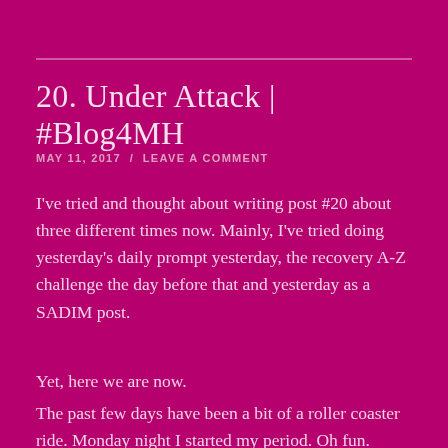20. Under Attack | #Blog4MH
MAY 11, 2017  /  LEAVE A COMMENT
I've tried and thought about writing post #20 about three different times now. Mainly, I've tried doing yesterday's daily prompt yesterday, the recovery A-Z challenge the day before that and yesterday as a SADIM post.
Yet, here we are now.
The past few days have been a bit of a roller coaster ride. Monday night I started my period. Oh fun. Monday is also when I started feeling the effects of